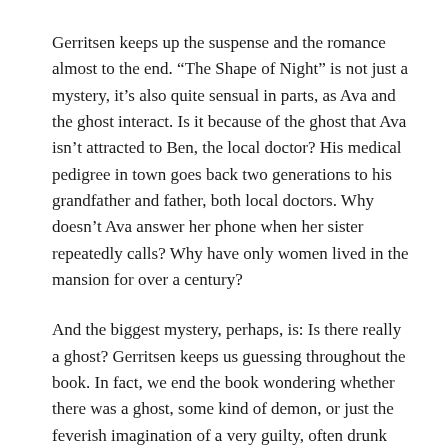Gerritsen keeps up the suspense and the romance almost to the end. “The Shape of Night” is not just a mystery, it’s also quite sensual in parts, as Ava and the ghost interact. Is it because of the ghost that Ava isn’t attracted to Ben, the local doctor? His medical pedigree in town goes back two generations to his grandfather and father, both local doctors. Why doesn’t Ava answer her phone when her sister repeatedly calls? Why have only women lived in the mansion for over a century?
And the biggest mystery, perhaps, is: Is there really a ghost? Gerritsen keeps us guessing throughout the book. In fact, we end the book wondering whether there was a ghost, some kind of demon, or just the feverish imagination of a very guilty, often drunk woman.